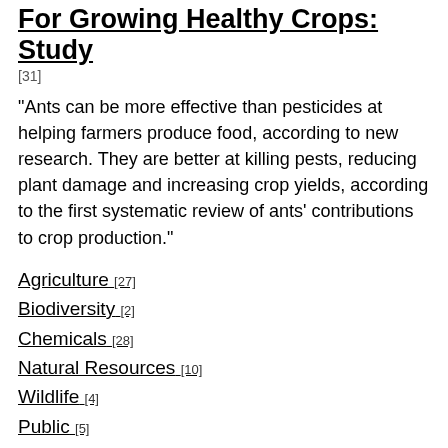For Growing Healthy Crops: Study [31]
[31]
"Ants can be more effective than pesticides at helping farmers produce food, according to new research. They are better at killing pests, reducing plant damage and increasing crop yields, according to the first systematic review of ants' contributions to crop production."
Agriculture [27]
Biodiversity [2]
Chemicals [28]
Natural Resources [10]
Wildlife [4]
Public [5]
International [19]
Source: Guardian [32], 08/18/2022
Read more [31]
"Is the Jaguarundi Extinct in the United States?" [33]
"These weasel-like small cats haven't been documented in